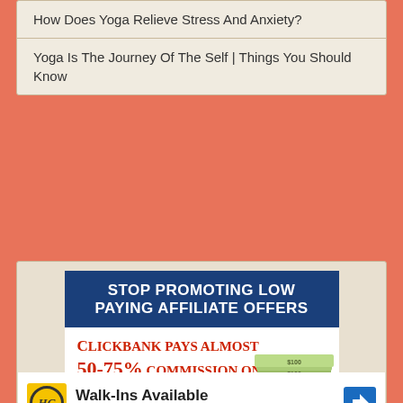How Does Yoga Relieve Stress And Anxiety?
Yoga Is The Journey Of The Self | Things You Should Know
[Figure (infographic): Advertisement: STOP PROMOTING LOW PAYING AFFILIATE OFFERS. Clickbank pays almost 50-75% commission on each product sold! All commissions goes in to your CLICKBANK account INSTANTLY! Image shows stacks of money.]
[Figure (infographic): Google ad for Hair Cuttery: HC logo, Walk-Ins Available text, Hair Cuttery name in blue, navigation arrow icon, with play and close buttons below.]